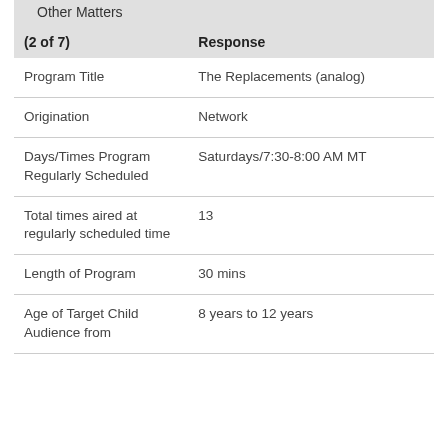| (2 of 7) | Response |
| --- | --- |
| Program Title | The Replacements (analog) |
| Origination | Network |
| Days/Times Program Regularly Scheduled | Saturdays/7:30-8:00 AM MT |
| Total times aired at regularly scheduled time | 13 |
| Length of Program | 30 mins |
| Age of Target Child Audience from | 8 years to 12 years |